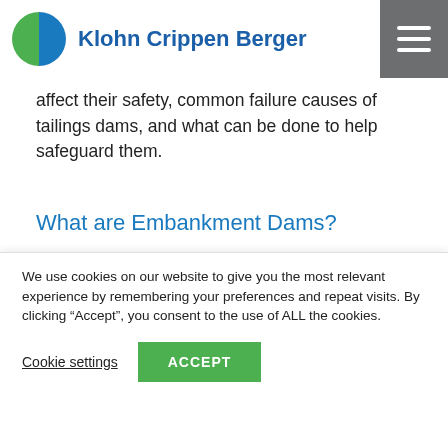Klohn Crippen Berger
affect their safety, common failure causes of tailings dams, and what can be done to help safeguard them.
What are Embankment Dams?
Embankment dams are a versatile type of dam that can be built on various soil and
We use cookies on our website to give you the most relevant experience by remembering your preferences and repeat visits. By clicking “Accept”, you consent to the use of ALL the cookies.
Cookie settings  ACCEPT